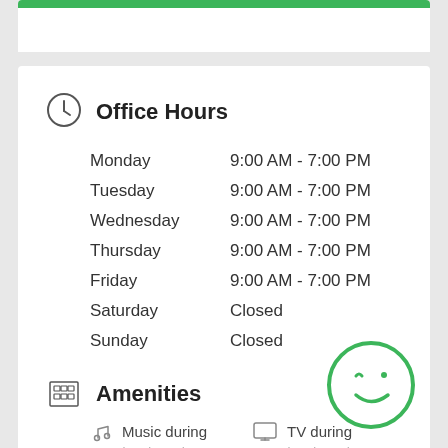Office Hours
| Day | Hours |
| --- | --- |
| Monday | 9:00 AM - 7:00 PM |
| Tuesday | 9:00 AM - 7:00 PM |
| Wednesday | 9:00 AM - 7:00 PM |
| Thursday | 9:00 AM - 7:00 PM |
| Friday | 9:00 AM - 7:00 PM |
| Saturday | Closed |
| Sunday | Closed |
Amenities
Music during treatment
TV during treatment